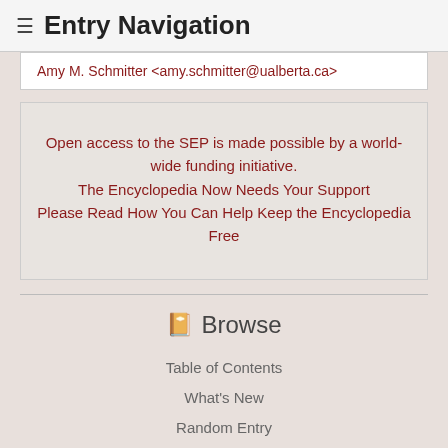≡ Entry Navigation
Amy M. Schmitter <amy.schmitter@ualberta.ca>
Open access to the SEP is made possible by a world-wide funding initiative.
The Encyclopedia Now Needs Your Support
Please Read How You Can Help Keep the Encyclopedia Free
📖 Browse
Table of Contents
What's New
Random Entry
Chronological
Archives